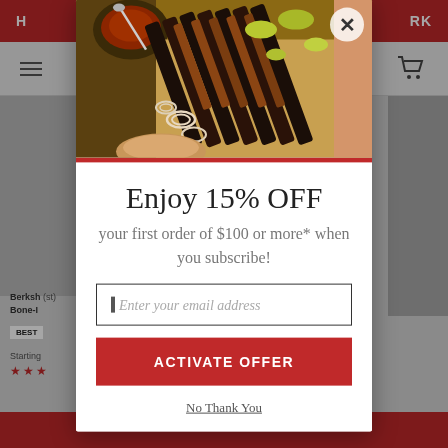[Figure (screenshot): Background of a BBQ/meat e-commerce website with red header bar, navigation, and product listings partially visible behind a modal popup overlay.]
[Figure (photo): Food photo of sliced BBQ brisket on a cutting board with sauce, onion rings, and peppers, shown at the top of the email signup modal popup.]
Enjoy 15% OFF
your first order of $100 or more* when you subscribe!
Enter your email address
ACTIVATE OFFER
No Thank You